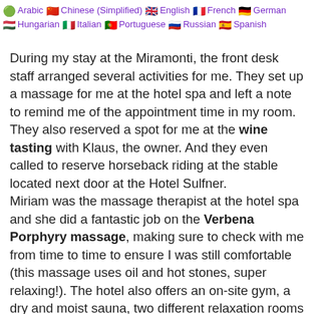Arabic | Chinese (Simplified) | English | French | German | Hungarian | Italian | Portuguese | Russian | Spanish
During my stay at the Miramonti, the front desk staff arranged several activities for me. They set up a massage for me at the hotel spa and left a note to remind me of the appointment time in my room. They also reserved a spot for me at the wine tasting with Klaus, the owner. And they even called to reserve horseback riding at the stable located next door at the Hotel Sulfner. Miriam was the massage therapist at the hotel spa and she did a fantastic job on the Verbena Porphyry massage, making sure to check with me from time to time to ensure I was still comfortable (this massage uses oil and hot stones, super relaxing!). The hotel also offers an on-site gym, a dry and moist sauna, two different relaxation rooms with views of the Dolomites, afternoon tea with complimentary sweets (get your strudel here!), and that out-of-this-world infinity pool that got me there in the first place- so worth it! I think I spent several hours in that pool, only getting out when I had stage 5